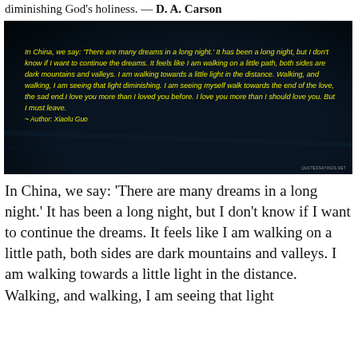diminishing God's holiness. — D. A. Carson
[Figure (photo): Dark background image with yellow italic text containing a quote by Xiaolu Guo about dreams and a long night, with 'QUOTESSAYINGS.NET' watermark.]
In China, we say: 'There are many dreams in a long night.' It has been a long night, but I don't know if I want to continue the dreams. It feels like I am walking on a little path, both sides are dark mountains and valleys. I am walking towards a little light in the distance. Walking, and walking, I am seeing that light